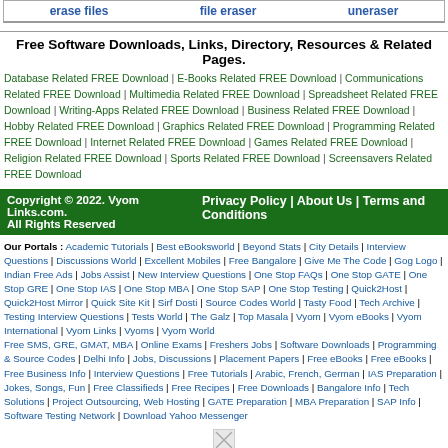erase files | file eraser | uneraser
Free Software Downloads, Links, Directory, Resources & Related Pages.
Database Related FREE Download | E-Books Related FREE Download | Communications Related FREE Download | Multimedia Related FREE Download | Spreadsheet Related FREE Download | Writing-Apps Related FREE Download | Business Related FREE Download | Hobby Related FREE Download | Graphics Related FREE Download | Programming Related FREE Download | Internet Related FREE Download | Games Related FREE Download | Religion Related FREE Download | Sports Related FREE Download | Screensavers Related FREE Download
Copyright © 2022. Vyom Links.com. All Rights Reserved | Privacy Policy | About Us | Terms and Conditions
Our Portals : Academic Tutorials | Best eBooksworld | Beyond Stats | City Details | Interview Questions | Discussions World | Excellent Mobiles | Free Bangalore | Give Me The Code | Gog Logo | Indian Free Ads | Jobs Assist | New Interview Questions | One Stop FAQs | One Stop GATE | One Stop GRE | One Stop IAS | One Stop MBA | One Stop SAP | One Stop Testing | Quick2Host | Quick2Host Mirror | Quick Site Kit | Sirf Dosti | Source Codes World | Tasty Food | Tech Archive | Testing Interview Questions | Tests World | The Galz | Top Masala | Vyom | Vyom eBooks | Vyom International | Vyom Links | Vyoms | Vyom World Free SMS, GRE, GMAT, MBA | Online Exams | Freshers Jobs | Software Downloads | Programming & Source Codes | Delhi Info | Jobs, Discussions | Placement Papers | Free eBooks | Free eBooks | Free Business Info | Interview Questions | Free Tutorials | Arabic, French, German | IAS Preparation | Jokes, Songs, Fun | Free Classifieds | Free Recipes | Free Downloads | Bangalore Info | Tech Solutions | Project Outsourcing, Web Hosting | GATE Preparation | MBA Preparation | SAP Info | Software Testing Network | Download Yahoo Messenger
[Figure (other): Broken image icon at bottom of page]